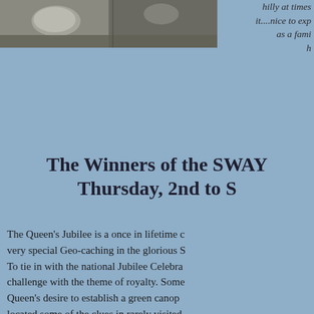[Figure (photo): Photograph showing a sandy/rocky ground surface, cropped at top of page, left side]
hilly at times it....nice to exp as a fami h
The Winners of the SWAY Thursday, 2nd to S
The Queen's Jubilee is a once in lifetime c very special Geo-caching in the glorious S To tie in with the national Jubilee Celebra challenge with the theme of royalty. Some Queen's desire to establish a green canop located some of the clues in rarely visited you to find with royal themes emblazoned We tried to make this challenge stretch o taking you to places you may not have vis references and find the symbols from th